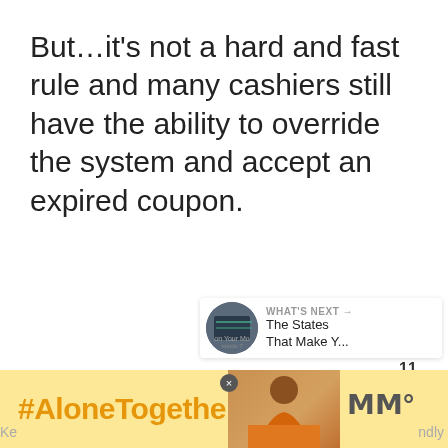But…it's not a hard and fast rule and many cashiers still have the ability to override the system and accept an expired coupon.
[Figure (screenshot): UI overlay with heart/like button showing count 11, share button, 'What's Next' widget with thumbnail and title 'The States That Make Y...', and an advertisement banner with '#AloneTogether' hashtag in orange on yellow background with a photo of a woman and a media logo.]